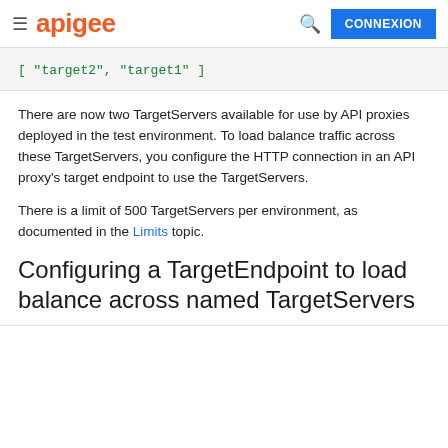apigee | CONNEXION
[ "target2", "target1" ]
There are now two TargetServers available for use by API proxies deployed in the test environment. To load balance traffic across these TargetServers, you configure the HTTP connection in an API proxy's target endpoint to use the TargetServers.
There is a limit of 500 TargetServers per environment, as documented in the Limits topic.
Configuring a TargetEndpoint to load balance across named TargetServers